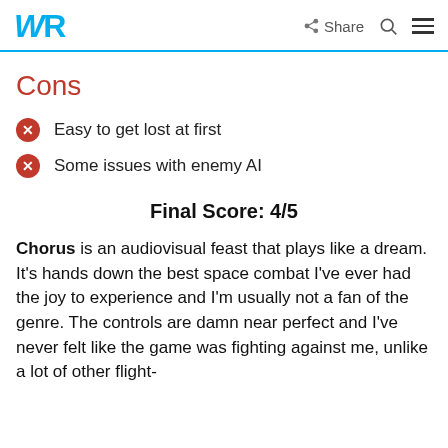WR  Share  Search  Menu
Cons
Easy to get lost at first
Some issues with enemy AI
Final Score: 4/5
Chorus is an audiovisual feast that plays like a dream. It's hands down the best space combat I've ever had the joy to experience and I'm usually not a fan of the genre. The controls are damn near perfect and I've never felt like the game was fighting against me, unlike a lot of other flight-